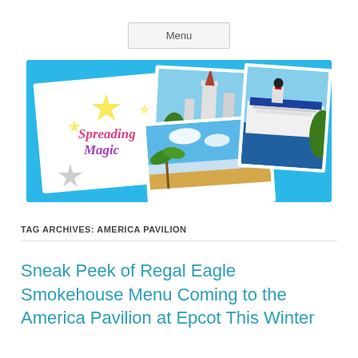Menu
[Figure (illustration): Spreading Magic blog banner with colorful logo on left, Disney castle photo, tropical beach photo, and cruise ship photo on cyan/light blue background]
TAG ARCHIVES: AMERICA PAVILION
Sneak Peek of Regal Eagle Smokehouse Menu Coming to the America Pavilion at Epcot This Winter